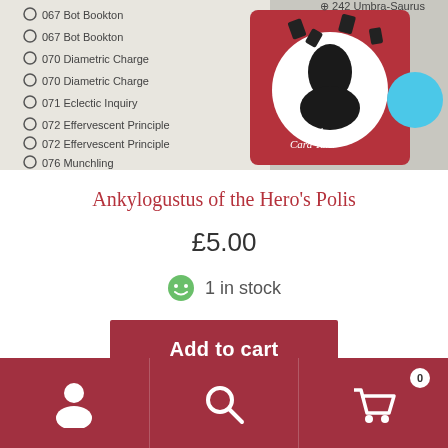[Figure (photo): Photo of a card game product showing a checklist of card names (067 Bot Bookton, 070 Diametric Charge, 071 Eclectic Inquiry, 072 Effervescent Principle, 076 Munchling) with a red card featuring 'Watto's Card Yard' logo and a blue token visible.]
Ankylogustus of the Hero’s Polis
£5.00
1 in stock
Add to cart